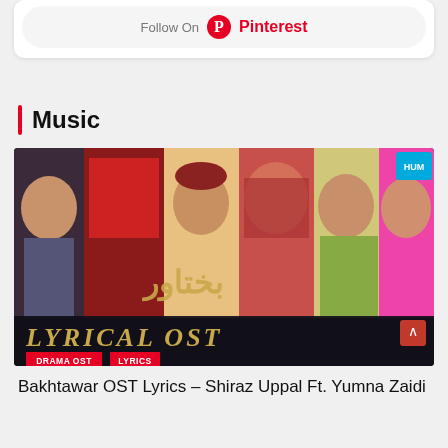[Figure (screenshot): Follow On Pinterest button with Pinterest logo]
Music
[Figure (photo): Bakhtawar drama OST promotional image showing multiple female characters in traditional Pakistani attire with text 'LYRICAL OST', 'DRAMA OST', and 'LYRICS' tags, HUM TV logo in top right corner.]
Bakhtawar OST Lyrics – Shiraz Uppal Ft. Yumna Zaidi